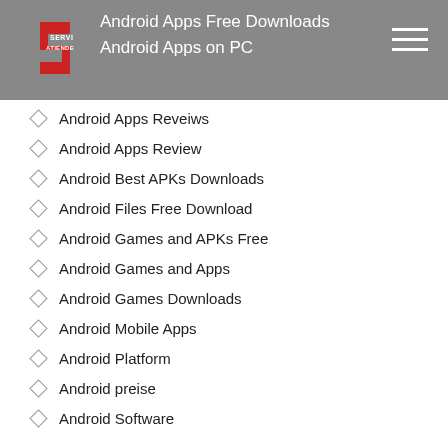SERVI ATIENDE | Android Apps Free Downloads | Android Apps on PC
Android Apps Reveiws
Android Apps Review
Android Best APKs Downloads
Android Files Free Download
Android Games and APKs Free
Android Games and Apps
Android Games Downloads
Android Mobile Apps
Android Platform
Android preise
Android Software
Android Software and Games
Android Web Apps
angelreturn app
Angelreturn review